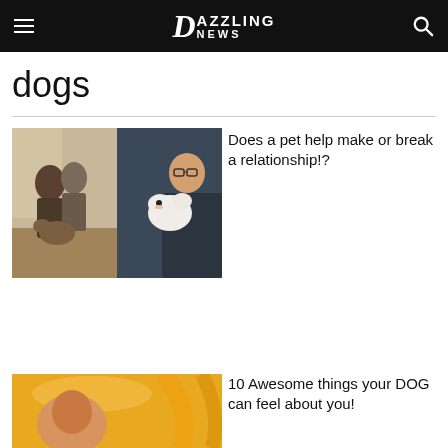Dazzling News
dogs
[Figure (photo): Two-panel image: left side shows a couple sitting on the floor with a dog, right side shows a person with glasses holding a small fluffy white dog]
Does a pet help make or break a relationship!?
[Figure (photo): Partial image with orange/yellow background, appears to show a person or object partially visible]
10 Awesome things your DOG can feel about you!